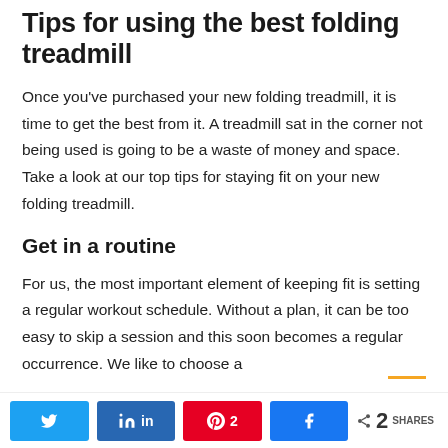Tips for using the best folding treadmill
Once you've purchased your new folding treadmill, it is time to get the best from it. A treadmill sat in the corner not being used is going to be a waste of money and space. Take a look at our top tips for staying fit on your new folding treadmill.
Get in a routine
For us, the most important element of keeping fit is setting a regular workout schedule. Without a plan, it can be too easy to skip a session and this soon becomes a regular occurrence. We like to choose a